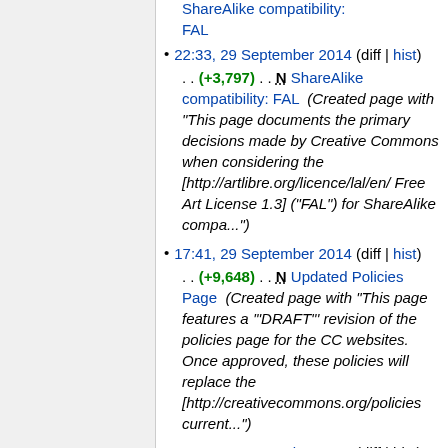22:33, 29 September 2014 (diff | hist) . . (+3,797) . . N ShareAlike compatibility: FAL (Created page with "This page documents the primary decisions made by Creative Commons when considering the [http://artlibre.org/licence/lal/en/ Free Art License 1.3] ("FAL") for ShareAlike compa...")
17:41, 29 September 2014 (diff | hist) . . (+9,648) . . N Updated Policies Page (Created page with "This page features a '"DRAFT"' revision of the policies page for the CC websites. Once approved, these policies will replace the [http://creativecommons.org/policies current...")
17:20, 29 September 2014 (diff | hist)